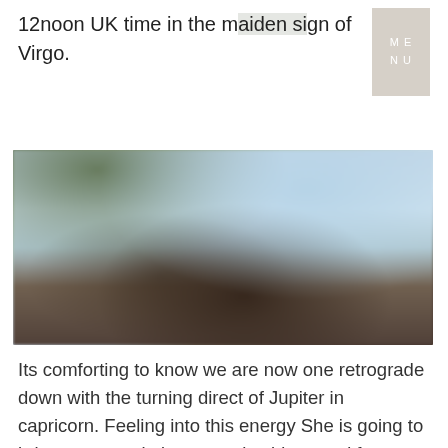12noon UK time in the maiden sign of Virgo.
[Figure (photo): Blurry outdoor photo with silhouette of a person with arms raised, tree foliage in upper left, light sky background]
Its comforting to know we are now one retrograde down with the turning direct of Jupiter in capricorn. Feeling into this energy She is going to bring us new wisdom, creative ideas and future vision. Within less than a month Saturn